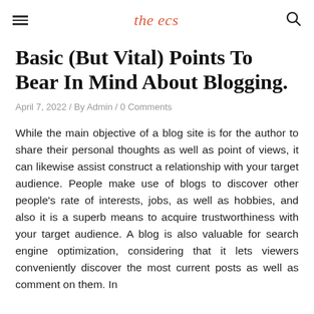the ecs
Basic (But Vital) Points To Bear In Mind About Blogging.
April 7, 2022 / By Admin / 0 Comments
While the main objective of a blog site is for the author to share their personal thoughts as well as point of views, it can likewise assist construct a relationship with your target audience. People make use of blogs to discover other people's rate of interests, jobs, as well as hobbies, and also it is a superb means to acquire trustworthiness with your target audience. A blog is also valuable for search engine optimization, considering that it lets viewers conveniently discover the most current posts as well as comment on them. In addition, it can also help you to engage your target audience.